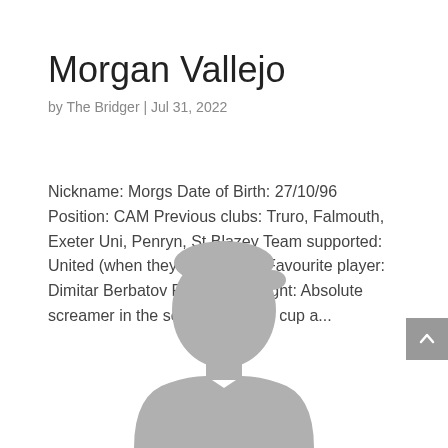Morgan Vallejo
by The Bridger | Jul 31, 2022
Nickname: Morgs Date of Birth: 27/10/96 Position: CAM Previous clubs: Truro, Falmouth, Exeter Uni, Penryn, St Blazey Team supported: United (when they were good) Favourite player: Dimitar Berbatov Football highlight: Absolute screamer in the semi final of the cup a...
[Figure (illustration): Placeholder silhouette of a person (head and shoulders, grey)]